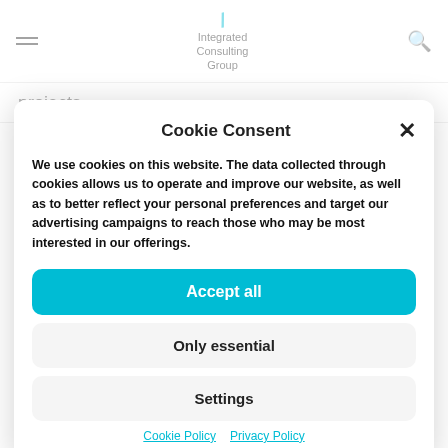[Figure (logo): Integrated Consulting Group logo with teal slash mark and hamburger menu icon on left, search icon on right]
projects
Cookie Consent
We use cookies on this website. The data collected through cookies allows us to operate and improve our website, as well as to better reflect your personal preferences and target our advertising campaigns to reach those who may be most interested in our offerings.
Accept all
Only essential
Settings
Cookie Policy  Privacy Policy